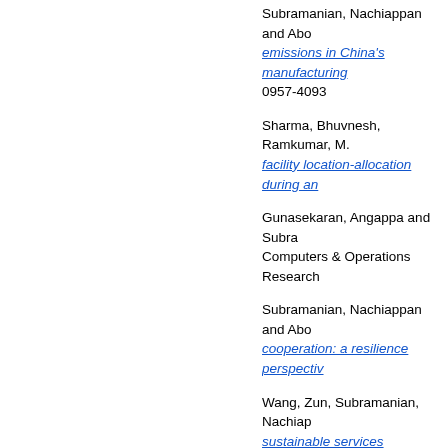Subramanian, Nachiappan and Abo... emissions in China's manufacturing... 0957-4093
Sharma, Bhuvnesh, Ramkumar, M... facility location-allocation during an...
Gunasekaran, Angappa and Subra... Computers & Operations Research...
Subramanian, Nachiappan and Abo... cooperation: a resilience perspectiv...
Wang, Zun, Subramanian, Nachiap... sustainable services innovation: Ni... ISSN 2352-5509
Pallaro, Estelle, Subramanian, Nac... sustainable service-based business... 31-45. ISSN 2352-5509
Subramanian, Nachiappan, Angapp... Azapagic (2017) Sustainable globa... advancing theory and practice for a... 2352-5509